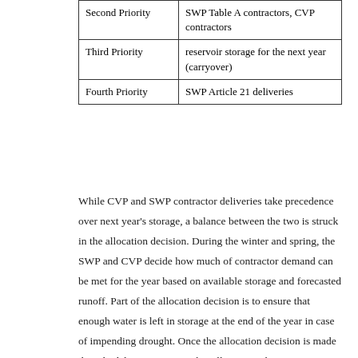| Second Priority | SWP Table A contractors, CVP contractors |
| Third Priority | reservoir storage for the next year (carryover) |
| Fourth Priority | SWP Article 21 deliveries |
While CVP and SWP contractor deliveries take precedence over next year's storage, a balance between the two is struck in the allocation decision. During the winter and spring, the SWP and CVP decide how much of contractor demand can be met for the year based on available storage and forecasted runoff. Part of the allocation decision is to ensure that enough water is left in storage at the end of the year in case of impending drought. Once the allocation decision is made though, deliveries to meet that allocation take priority over maintaining the storage